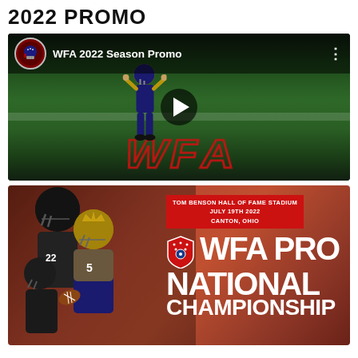2022 PROMO
[Figure (screenshot): YouTube video thumbnail for 'WFA 2022 Season Promo' showing a football player in an end zone with WFA lettering on the field, with a play button in the center]
[Figure (photo): WFA Pro National Championship promotional banner. Text reads: TOM BENSON HALL OF FAME STADIUM / JULY 19TH 2022 / CANTON, OHIO in a red badge. Large white text: WFA PRO NATIONAL CHAMPIONSHIP. Football players on left side. WFA shield logo visible.]